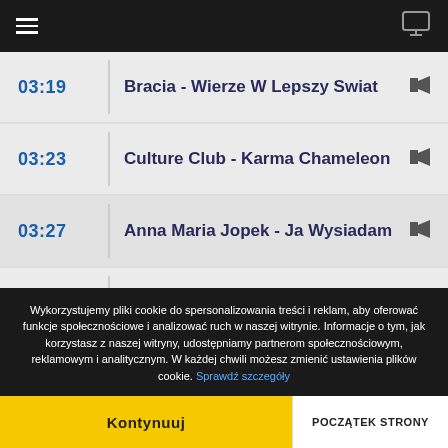Navigation bar with hamburger menu and monitor icon
03:19  Bracia - Wierze W Lepszy Swiat
03:23  Culture Club - Karma Chameleon
03:27  Anna Maria Jopek - Ja Wysiadam
03:30  Katerine - Ayo Technology
03:34  Justyna Steczkowska - Dziewczyna Szamana
Wykorzystujemy pliki cookie do spersonalizowania treści i reklam, aby oferować funkcje społecznościowe i analizować ruch w naszej witrynie. Informacje o tym, jak korzystasz z naszej witryny, udostępniamy partnerom społecznościowym, reklamowym i analitycznym. W każdej chwili możesz zmienić ustawienia plików cookie. Sprawdź szczegóły
Kontynuuj | POCZĄTEK STRONY